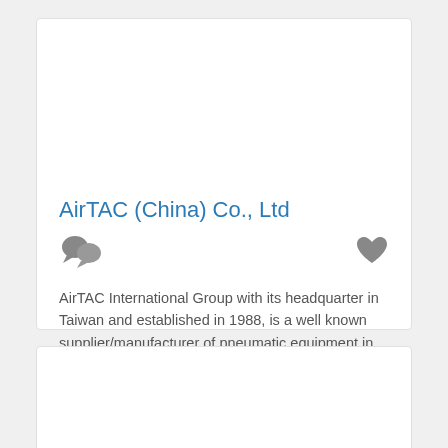AirTAC (China) Co., Ltd
AirTAC International Group with its headquarter in Taiwan and established in 1988, is a well known supplier/manufacturer of pneumatic equipment in the world market. AirTAC is specialized in producing actuators, control components, air preparation products and accessories, which Read more... sed in the automotive